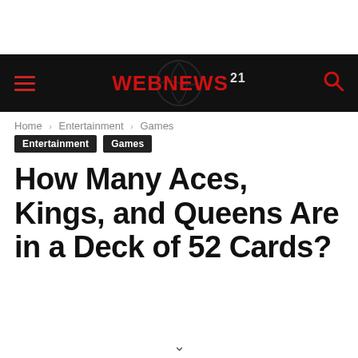WEBNEWS 21
Home › Entertainment › Games
Entertainment
Games
How Many Aces, Kings, and Queens Are in a Deck of 52 Cards?